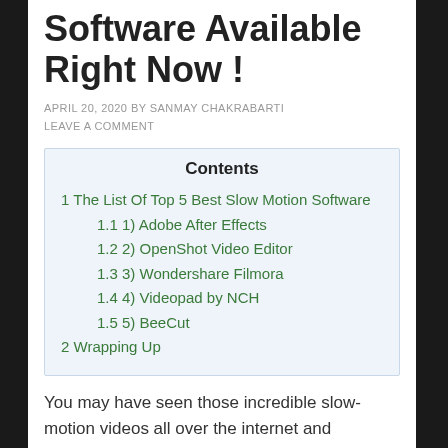Software Available Right Now !
APRIL 20, 2020 BY SANMAY CHAKRABARTI
LEAVE A COMMENT
| Contents |
| --- |
| 1 The List Of Top 5 Best Slow Motion Software |
| 1.1 1) Adobe After Effects |
| 1.2 2) OpenShot Video Editor |
| 1.3 3) Wondershare Filmora |
| 1.4 4) Videopad by NCH |
| 1.5 5) BeeCut |
| 2 Wrapping Up |
You may have seen those incredible slow-motion videos all over the internet and wondered how to do they create it. Slow motion always brings an